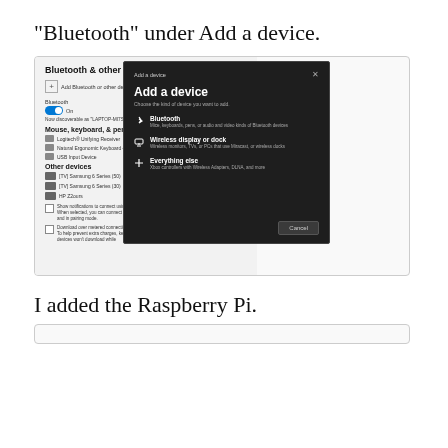“Bluetooth” under Add a device.
[Figure (screenshot): Windows 10 Bluetooth & other devices settings panel with a dark 'Add a device' dialog overlaid, showing options: Bluetooth, Wireless display or dock, Everything else. A Cancel button appears at the bottom right of the dialog.]
I added the Raspberry Pi.
[Figure (screenshot): Bottom portion of another screenshot, partially visible.]